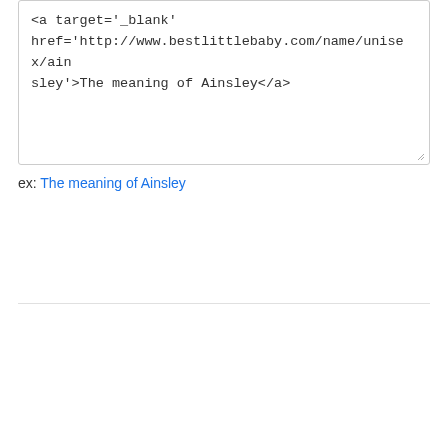[Figure (screenshot): A text input box containing HTML code: <a target='_blank' href='http://www.bestlittlebaby.com/name/unisex/ainsley'>The meaning of Ainsley</a>]
ex: The meaning of Ainsley